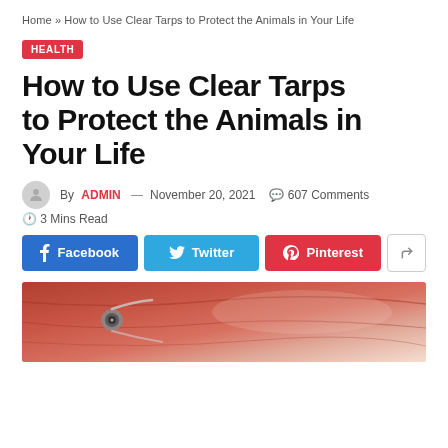Home » How to Use Clear Tarps to Protect the Animals in Your Life
HEALTH
How to Use Clear Tarps to Protect the Animals in Your Life
By ADMIN — November 20, 2021  607 Comments  3 Mins Read
[Figure (infographic): Social share buttons: Facebook, Twitter, Pinterest, and a generic share button]
[Figure (photo): Close-up photo of red/orange tarp material with grommets and rope]